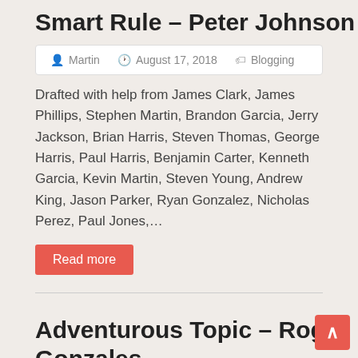Smart Rule – Peter Johnson
Martin   August 17, 2018   Blogging
Drafted with help from James Clark, James Phillips, Stephen Martin, Brandon Garcia, Jerry Jackson, Brian Harris, Steven Thomas, George Harris, Paul Harris, Benjamin Carter, Kenneth Garcia, Kevin Martin, Steven Young, Andrew King, Jason Parker, Ryan Gonzalez, Nicholas Perez, Paul Jones,…
Read more
Adventurous Topic – Roger Gonzales
Martin   August 17, 2018   Blogging
Created with information from Jason Smith, Anthony Jackson, Christopher Taylor, Jason Carter, Jack Wright, Edward Wilson,